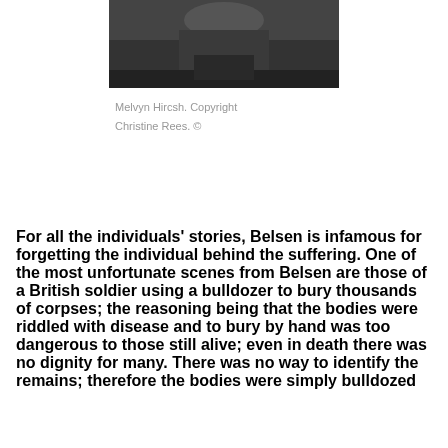[Figure (photo): Photograph of Melvyn Hircsh, partially cropped, showing upper torso area against an outdoor background.]
Melvyn Hircsh. Copyright Christine Rees. ©
For all the individuals' stories, Belsen is infamous for forgetting the individual behind the suffering. One of the most unfortunate scenes from Belsen are those of a British soldier using a bulldozer to bury thousands of corpses; the reasoning being that the bodies were riddled with disease and to bury by hand was too dangerous to those still alive; even in death there was no dignity for many. There was no way to identify the remains; therefore the bodies were simply bulldozed